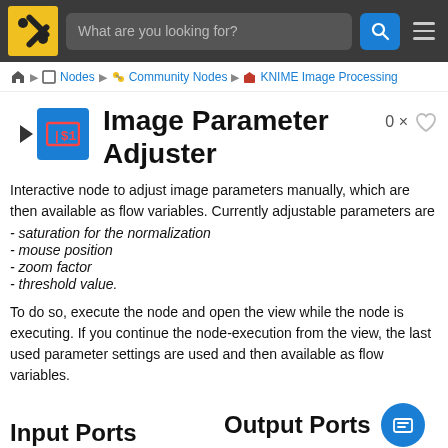What are you looking for?
Nodes ▶ Community Nodes ▶ KNIME Image Processing
Image Parameter Adjuster
Interactive node to adjust image parameters manually, which are then available as flow variables. Currently adjustable parameters are
- saturation for the normalization
- mouse position
- zoom factor
- threshold value.
To do so, execute the node and open the view while the node is executing. If you continue the node-execution from the view, the last used parameter settings are used and then available as flow variables.
Input Ports
Output Ports